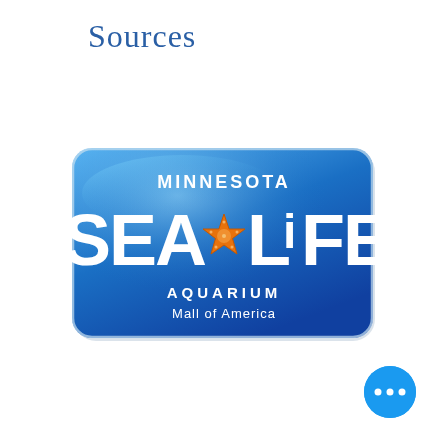Sources
[Figure (logo): Minnesota Sea Life Aquarium logo at Mall of America. Blue rounded rectangle badge with gradient background. Text reads 'MINNESOTA' at top, large 'SEA LIFE' in white bold letters with an orange starfish replacing the 'A' in 'LIFE', and 'AQUARIUM / Mall of America' at bottom.]